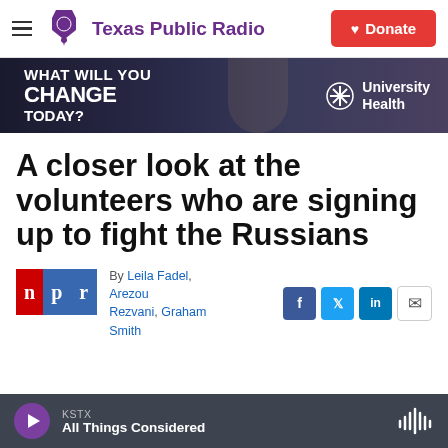Texas Public Radio | Donate
[Figure (infographic): University Health advertisement banner: WHAT WILL YOU CHANGE TODAY? with a person and University Health logo]
A closer look at the volunteers who are signing up to fight the Russians
By Leila Fadel, Arezou Rezvani, Graham Smith
[Figure (logo): NPR logo with n, p, r letters in red and blue blocks]
[Figure (other): Social share buttons: Facebook, Twitter, LinkedIn, Email]
KSTX All Things Considered